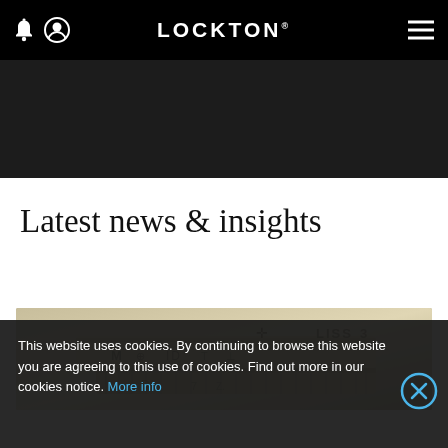LOCKTON
Latest news & insights
[Figure (photo): Close-up photograph of stacked British pound coins showing inscribed text on edges, silver/gold colored coins on light background]
This website uses cookies. By continuing to browse this website you are agreeing to this use of cookies. Find out more in our cookies notice. More info